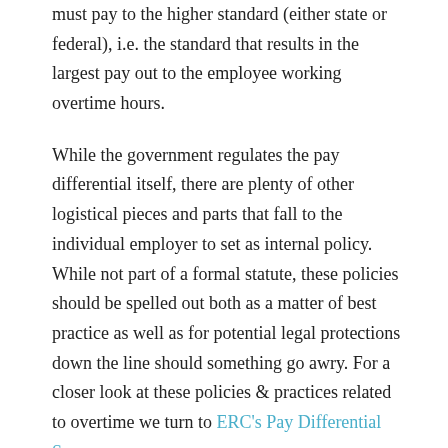must pay to the higher standard (either state or federal), i.e. the standard that results in the largest pay out to the employee working overtime hours.
While the government regulates the pay differential itself, there are plenty of other logistical pieces and parts that fall to the individual employer to set as internal policy. While not part of a formal statute, these policies should be spelled out both as a matter of best practice as well as for potential legal protections down the line should something go awry. For a closer look at these policies & practices related to overtime we turn to ERC's Pay Differential Survey.
1. Notification & Communication